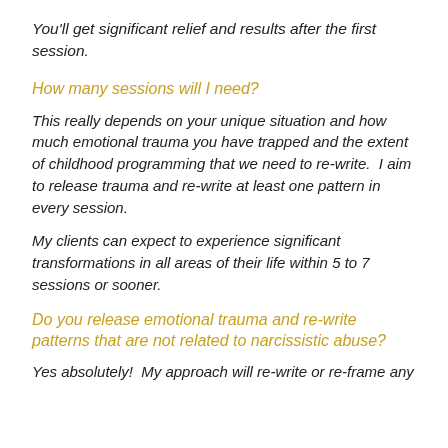You'll get significant relief and results after the first session.
How many sessions will I need?
This really depends on your unique situation and how much emotional trauma you have trapped and the extent of childhood programming that we need to re-write.  I aim to release trauma and re-write at least one pattern in every session.
My clients can expect to experience significant transformations in all areas of their life within 5 to 7 sessions or sooner.
Do you release emotional trauma and re-write patterns that are not related to narcissistic abuse?
Yes absolutely!  My approach will re-write or re-frame any